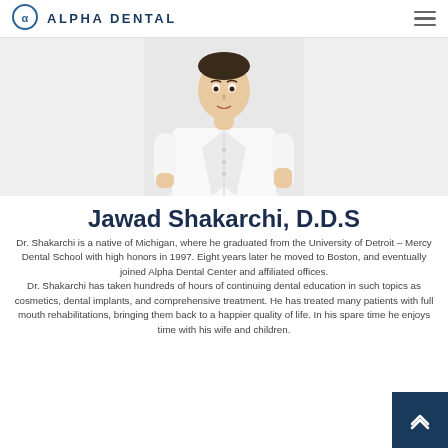Alpha Dental
[Figure (photo): Doctor Jawad Shakarchi in white lab coat, upper body visible, against light background]
Jawad Shakarchi, D.D.S
Dr. Shakarchi is a native of Michigan, where he graduated from the University of Detroit – Mercy Dental School with high honors in 1997. Eight years later he moved to Boston, and eventually joined Alpha Dental Center and affiliated offices. Dr. Shakarchi has taken hundreds of hours of continuing dental education in such topics as cosmetics, dental implants, and comprehensive treatment. He has treated many patients with full mouth rehabilitations, bringing them back to a happier quality of life. In his spare time he enjoys time with his wife and children.